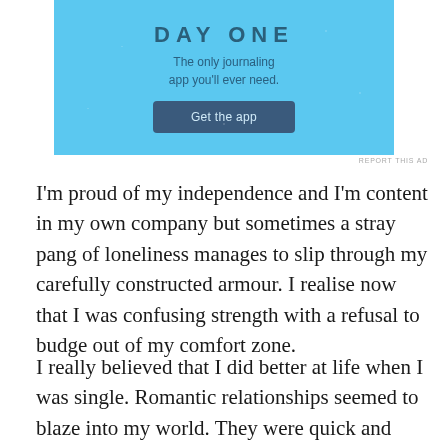[Figure (screenshot): Advertisement banner for Day One journaling app with light blue background, showing 'DAY ONE' title, tagline 'The only journaling app you'll ever need.' and a dark blue 'Get the app' button]
REPORT THIS AD
I'm proud of my independence and I'm content in my own company but sometimes a stray pang of loneliness manages to slip through my carefully constructed armour. I realise now that I was confusing strength with a refusal to budge out of my comfort zone.
I really believed that I did better at life when I was single. Romantic relationships seemed to blaze into my world. They were quick and exciting and dangerous.
They were so out of my control that I feared I'd be engulfed in their flames. Then they died out, leaving me to